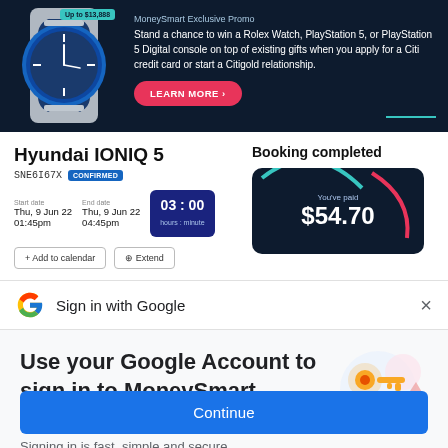[Figure (screenshot): MoneySmart Exclusive Promo banner with Rolex watch image, teal 'Up to $13,888' tag, promotional text about winning a Rolex Watch or PlayStation 5 with Citi credit card, and a Learn More button]
Hyundai IONIQ 5
SNE6I67X CONFIRMED
Start date Thu, 9 Jun 22 01:45pm End date Thu, 9 Jun 22 04:45pm Duration 03 : 00 hours : minute
+ Add to calendar
Booking completed
You've paid $54.70
Sign in with Google
Use your Google Account to sign in to MoneySmart
No more passwords to remember. Signing in is fast, simple and secure.
Continue